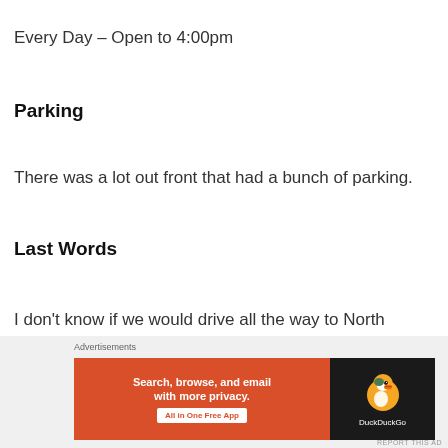Every Day – Open to 4:00pm
Parking
There was a lot out front that had a bunch of parking.
Last Words
I don't know if we would drive all the way to North Vancouver to visit their location again, but I do know
[Figure (other): DuckDuckGo advertisement banner: orange left panel with text 'Search, browse, and email with more privacy. All in One Free App' and dark right panel with DuckDuckGo duck logo]
Advertisements
REPORT THIS AD